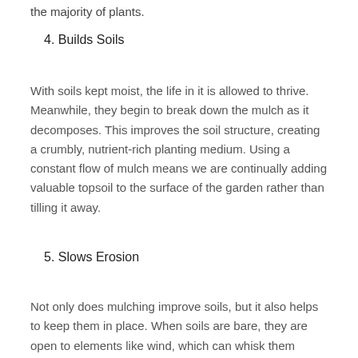the majority of plants.
4. Builds Soils
With soils kept moist, the life in it is allowed to thrive. Meanwhile, they begin to break down the mulch as it decomposes. This improves the soil structure, creating a crumbly, nutrient-rich planting medium. Using a constant flow of mulch means we are continually adding valuable topsoil to the surface of the garden rather than tilling it away.
5. Slows Erosion
Not only does mulching improve soils, but it also helps to keep them in place. When soils are bare, they are open to elements like wind, which can whisk them away, and heavy rains,